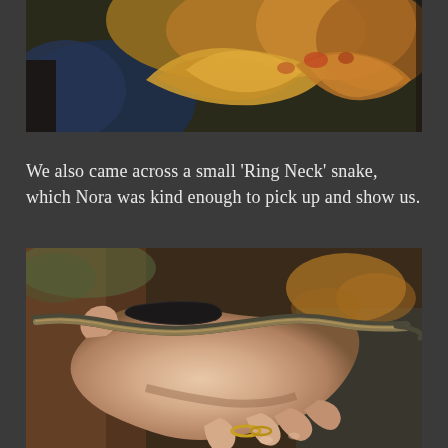[Figure (photo): Close-up photo of orange and yellow bracket fungi growing on dark tree bark, with blue-tinted foliage in the background]
We also came across a small ‘Ring Neck’ snake, which Nora was kind enough to pick up and show us.
[Figure (photo): Close-up photo of a small brown Ring Neck snake draped across a person's hand which has a black bracelet and a gold ring on one finger]